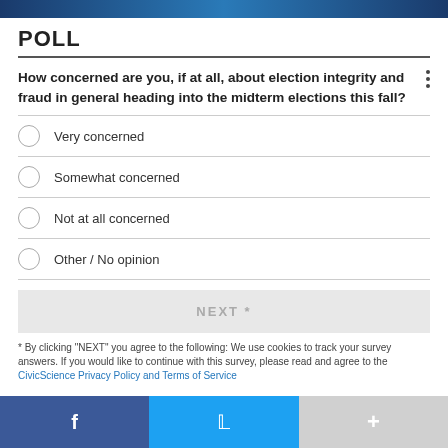[Figure (photo): Dark blue header image banner at the top of the page]
POLL
How concerned are you, if at all, about election integrity and fraud in general heading into the midterm elections this fall?
Very concerned
Somewhat concerned
Not at all concerned
Other / No opinion
NEXT *
* By clicking "NEXT" you agree to the following: We use cookies to track your survey answers. If you would like to continue with this survey, please read and agree to the CivicScience Privacy Policy and Terms of Service
[Figure (infographic): Social media share bar at bottom with Facebook (blue), Twitter (cyan), and a plus/share button (gray)]